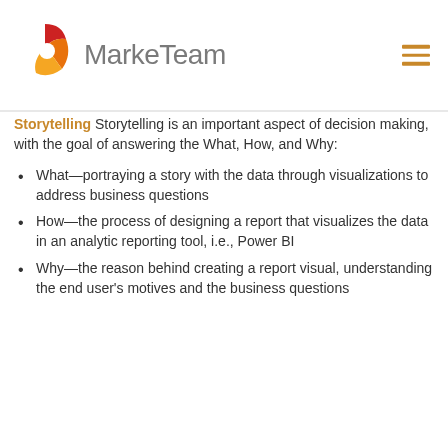[Figure (logo): MarkeTeam logo with orange and red chevron/flame icon above the text 'MarkeTeam' in grey]
Storytelling Storytelling is an important aspect of decision making, with the goal of answering the What, How, and Why:
What—portraying a story with the data through visualizations to address business questions
How—the process of designing a report that visualizes the data in an analytic reporting tool, i.e., Power BI
Why—the reason behind creating a report visual, understanding the end user's motives and the business questions